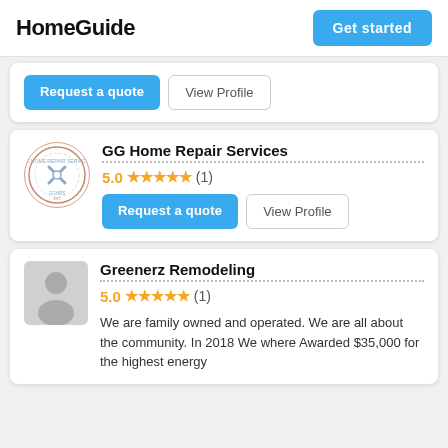HomeGuide | Get started
Request a quote  View Profile
GG Home Repair Services
5.0 ★★★★★ (1)
Request a quote  View Profile
Greenerz Remodeling
5.0 ★★★★★ (1)
We are family owned and operated.  We are all about the community. In 2018 We where Awarded $35,000  for the highest energy